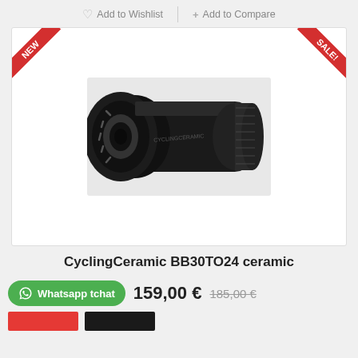Add to Wishlist   Add to Compare
[Figure (photo): Black CyclingCeramic BB30TO24 ceramic bottom bracket component with NEW and SALE! ribbon badges]
CyclingCeramic BB30TO24 ceramic
Whatsapp tchat  159,00 €  185,00 €